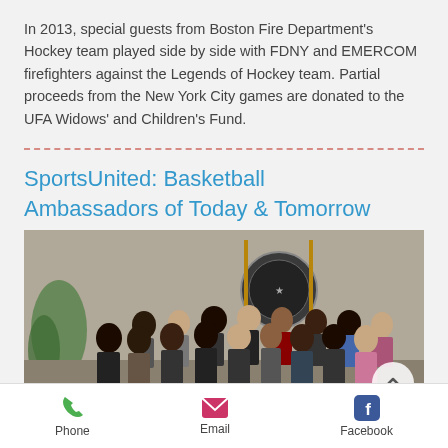In 2013, special guests from Boston Fire Department's Hockey team played side by side with FDNY and EMERCOM firefighters against the Legends of Hockey team.  Partial proceeds from the New York City games are donated to the UFA Widows' and Children's Fund.
SportsUnited: Basketball Ambassadors of Today & Tomorrow
[Figure (photo): Group photo of approximately 15-16 young people and adults posing indoors in front of what appears to be an official seal or emblem on the wall. The group is diverse, some wearing formal attire. There is a green plant visible on the left side.]
Phone   Email   Facebook